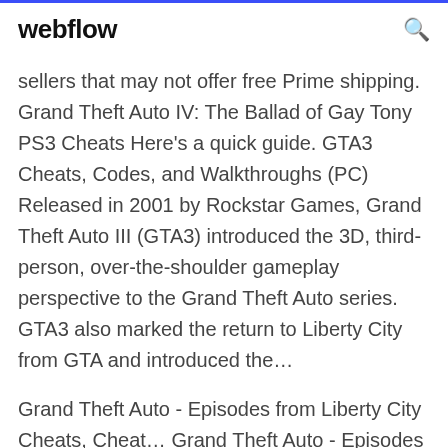webflow
sellers that may not offer free Prime shipping. Grand Theft Auto IV: The Ballad of Gay Tony PS3 Cheats Here's a quick guide. GTA3 Cheats, Codes, and Walkthroughs (PC) Released in 2001 by Rockstar Games, Grand Theft Auto III (GTA3) introduced the 3D, third-person, over-the-shoulder gameplay perspective to the Grand Theft Auto series. GTA3 also marked the return to Liberty City from GTA and introduced the…
Grand Theft Auto - Episodes from Liberty City Cheats, Cheat… Grand Theft Auto - Episodes from Liberty City How to complete the game 100%: --- Submitted by: Nshaidul Email Nshaidul@hotmail.com 100% Completion